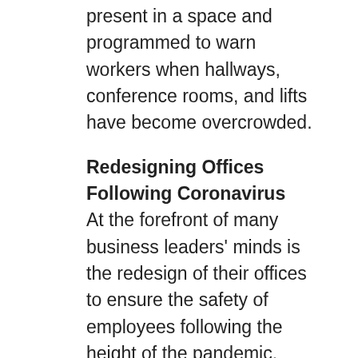present in a space and programmed to warn workers when hallways, conference rooms, and lifts have become overcrowded.
Redesigning Offices Following Coronavirus
At the forefront of many business leaders' minds is the redesign of their offices to ensure the safety of employees following the height of the pandemic. From the installation of air-filtration systems to office doors fitted with sensors, what changes will you include in your post-pandemic office designs?
In order to streamline the design and planning processes, ATTOM's property